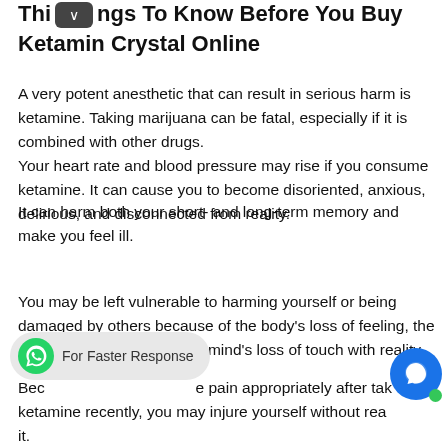Things To Know Before You Buy Ketamin Crystal Online
A very potent anesthetic that can result in serious harm is ketamine. Taking marijuana can be fatal, especially if it is combined with other drugs. Your heart rate and blood pressure may rise if you consume ketamine. It can cause you to become disoriented, anxious, delirious, and disconnected from reality.
It can harm both your short- and long-term memory and make you feel ill.
You may be left vulnerable to harming yourself or being damaged by others because of the body's loss of feeling, the muscles' paralysis, and the mind's loss of touch with reality.
Because you cannot sense pain appropriately after taking ketamine recently, you may injure yourself without realizing it.